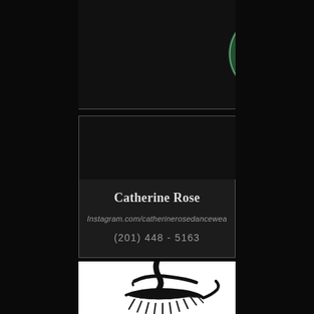[Figure (logo): Decorative monogram logo with green and black background, stylized letters GB]
Catherine Rose
Instagram.com/catherinerosedancewea
(201) 448 - 5163
[Figure (illustration): Black and white illustration of a stylized eye with dramatic eyelashes and eyebrow on white background]